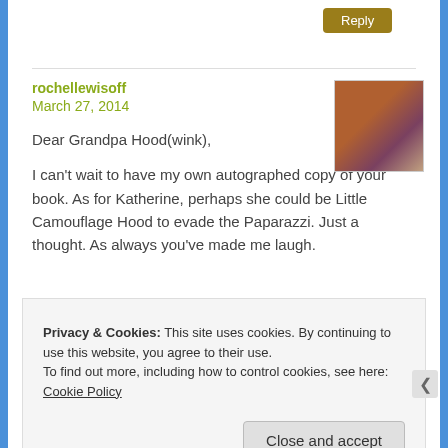[Figure (other): Reply button (golden/olive colored button)]
rochellewisoff
March 27, 2014
[Figure (photo): Avatar photo of a person holding a mug]
Dear Grandpa Hood(wink),
I can't wait to have my own autographed copy of your book. As for Katherine, perhaps she could be Little Camouflage Hood to evade the Paparazzi. Just a thought. As always you've made me laugh.
Privacy & Cookies: This site uses cookies. By continuing to use this website, you agree to their use.
To find out more, including how to control cookies, see here: Cookie Policy
Close and accept